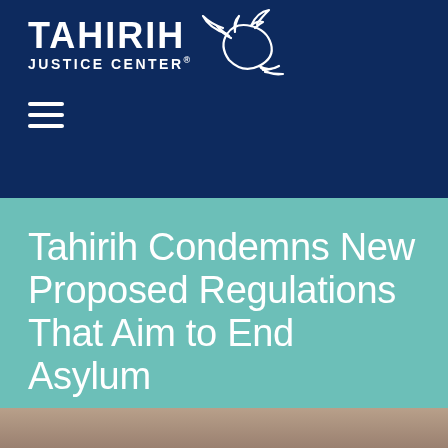[Figure (logo): Tahirih Justice Center logo with white bird/dove graphic and white text on dark navy background, with hamburger menu icon below]
Tahirih Condemns New Proposed Regulations That Aim to End Asylum
JUNE 10TH, 2020
[Figure (photo): Partial photo visible at bottom of page, appears to show a person outdoors]